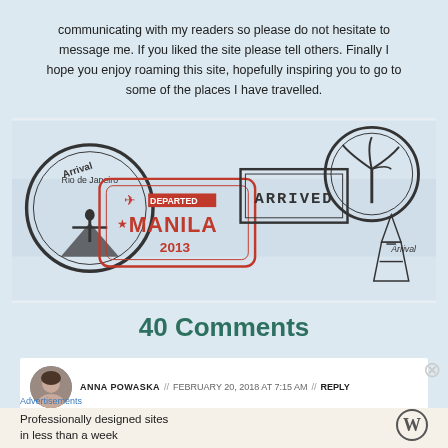communicating with my readers so please do not hesitate to message me. If you liked the site please tell others. Finally I hope you enjoy roaming this site, hopefully inspiring you to go to some of the places I have travelled.
[Figure (illustration): Collage of passport stamps including 'Arrival Rio de Janeiro', 'MANILA 2013 DEPARTED', 'ARRIVED', and a Paris Eiffel Tower arrival stamp, on a light blue background with a palm tree circle stamp.]
40 Comments
ANNA POWASKA // FEBRUARY 20, 2018 AT 7:15 AM // REPLY
Advertisements
Professionally designed sites in less than a week